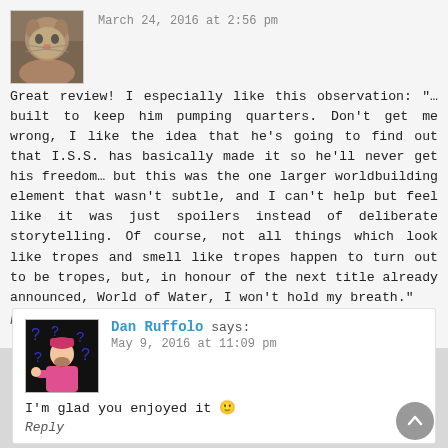March 24, 2016 at 2:56 pm
Great review! I especially like this observation: "… built to keep him pumping quarters. Don't get me wrong, I like the idea that he's going to find out that I.S.S. has basically made it so he'll never get his freedom… but this was the one larger worldbuilding element that wasn't subtle, and I can't help but feel like it was just spoilers instead of deliberate storytelling. Of course, not all things which look like tropes and smell like tropes happen to turn out to be tropes, but, in honour of the next title already announced, World of Water, I won't hold my breath."
Reply
Dan Ruffolo says:
May 9, 2016 at 11:09 pm
I'm glad you enjoyed it 🙂
Reply